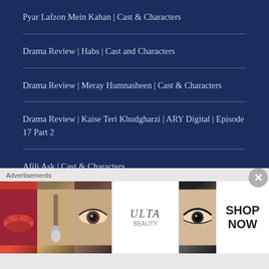Pyar Lafzon Mein Kahan | Cast & Characters
Drama Review | Habs | Cast and Characters
Drama Review | Meray Humnasheen | Cast & Characters
Drama Review | Kaise Teri Khudgharzi | ARY Digital | Episode 17 Part 2
Afili Aşk | Cast & Characters
Drama Review | Hum Tum | Episode 31
[Figure (advertisement): Ulta Beauty advertisement banner showing makeup-themed photos including lips with makeup brush, eye with eyeshadow, Ulta Beauty logo, dramatic eye, and SHOP NOW call to action]